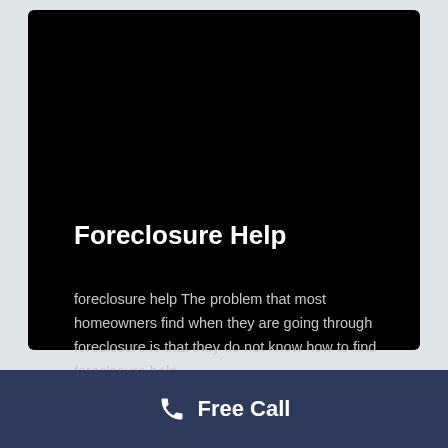Foreclosure Help
foreclosure help The problem that most homeowners find when they are going through foreclosure is that they do not know how to find foreclosure help.
Free Call